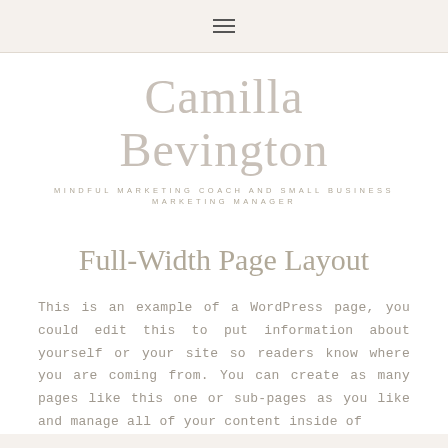≡
Camilla Bevington
MINDFUL MARKETING COACH AND SMALL BUSINESS MARKETING MANAGER
Full-Width Page Layout
This is an example of a WordPress page, you could edit this to put information about yourself or your site so readers know where you are coming from. You can create as many pages like this one or sub-pages as you like and manage all of your content inside of